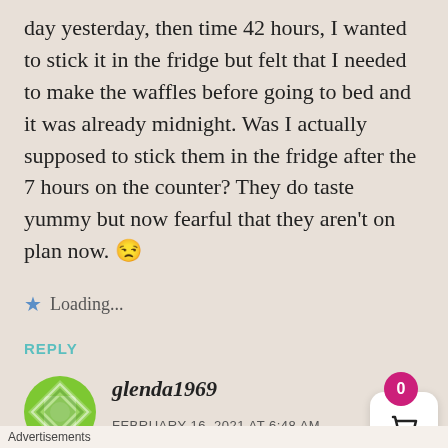day yesterday, then time 42 hours, I wanted to stick it in the fridge but felt that I needed to make the waffles before going to bed and it was already midnight. Was I actually supposed to stick them in the fridge after the 7 hours on the counter? They do taste yummy but now fearful that they aren't on plan now. 😕
Loading...
REPLY
[Figure (photo): Green decorative avatar icon with geometric pattern]
glenda1969
FEBRUARY 16, 2021 AT 6:48 AM
Advertisements